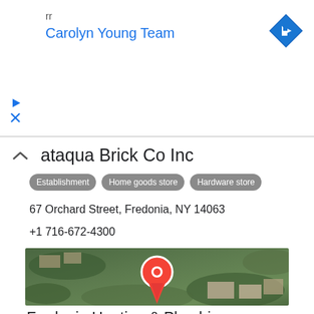rr
Carolyn Young Team
[Figure (other): Blue diamond navigation/directions icon with white right-turn arrow]
[Figure (other): Play/ad control icon (triangle) in cyan/blue]
[Figure (other): Close X icon in cyan/blue]
...ataqua Brick Co Inc
Establishment
Home goods store
Hardware store
67 Orchard Street, Fredonia, NY 14063
+1 716-672-4300
[Figure (map): Satellite/aerial map view showing a location pin (red teardrop with white circle) placed over a wooded/mixed terrain area showing rooftops and trees in Fredonia, NY]
Fredonia Heating & Plumbing